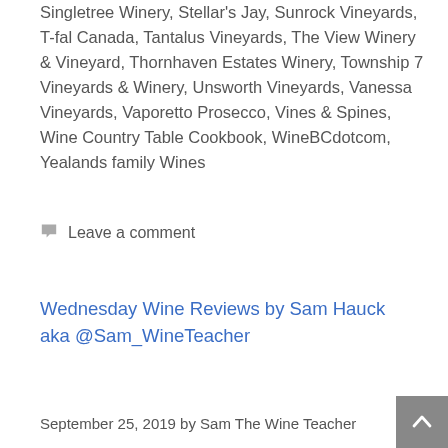Singletree Winery, Stellar's Jay, Sunrock Vineyards, T-fal Canada, Tantalus Vineyards, The View Winery & Vineyard, Thornhaven Estates Winery, Township 7 Vineyards & Winery, Unsworth Vineyards, Vanessa Vineyards, Vaporetto Prosecco, Vines & Spines, Wine Country Table Cookbook, WineBCdotcom, Yealands family Wines
Leave a comment
Wednesday Wine Reviews by Sam Hauck aka @Sam_WineTeacher
September 25, 2019 by Sam The Wine Teacher